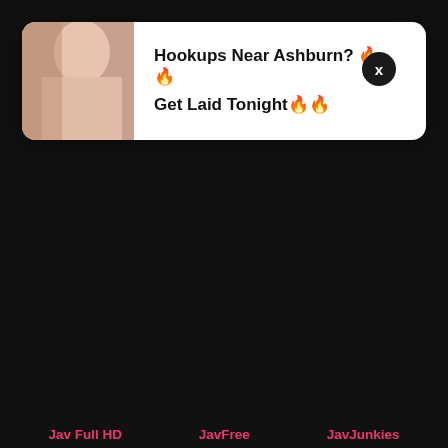[Figure (screenshot): Advertisement popup overlay on a dark webpage. Shows a partial photo of a person on the left, with bold text 'Hookups Near Ashburn? 🔥🔥 Get Laid Tonight🔥🔥' on white background, and a close button (x) in top right corner.]
Jav Full HD
JavFree
JavJunkies